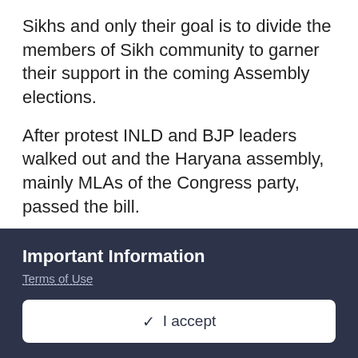Sikhs and only their goal is to divide the members of Sikh community to garner their support in the coming Assembly elections.
After protest INLD and BJP leaders walked out and the Haryana assembly, mainly MLAs of the Congress party, passed the bill.
As per set procedure the proposed Bill passed by the Haryana Assembly will now be sent to Haryana Governor for his assent.
As per certain media reports the Punjab Congress
Important Information
Terms of Use
✓ I accept